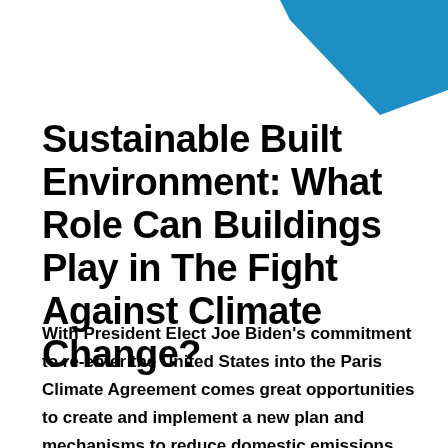[Figure (illustration): Blue geometric decorative header graphic — two overlapping trapezoid/diamond shapes in steel blue, positioned at the top-right of the page forming a chevron-like design.]
Sustainable Built Environment: What Role Can Buildings Play in The Fight Against Climate Change?
With President Elect Joe Biden's commitment to re-enter the United States into the Paris Climate Agreement comes great opportunities to create and implement a new plan and mechanisms to reduce domestic emissions. Placing buildings and building